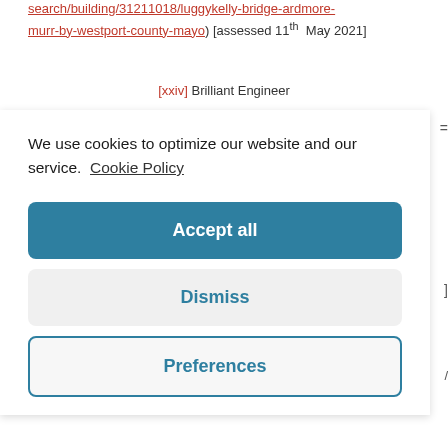search/building/31211018/luggykelly-bridge-ardmore-murr-by-westport-county-mayo) [assessed 11th May 2021]
[xxiv] Brilliant Engineer
We use cookies to optimize our website and our service. Cookie Policy
Accept all
Dismiss
Preferences